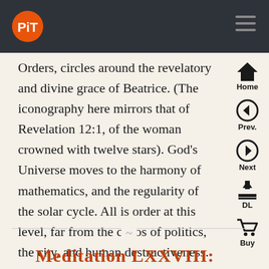PiT logo and navigation bar
Orders, circles around the revelatory and divine grace of Beatrice. (The iconography here mirrors that of Revelation 12:1, of the woman crowned with twelve stars). God’s Universe moves to the harmony of mathematics, and the regularity of the solar cycle. All is order at this level, far from the chaos of politics, the city, and human destructiveness.
Meditation LXXVIII: